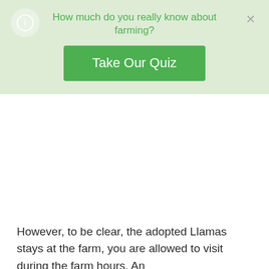How much do you really know about farming?
[Figure (other): Green button labeled 'Take Our Quiz']
However, to be clear, the adopted Llamas stays at the farm, you are allowed to visit during the farm hours. An individual can not take the adopted Llama with him. Multiple adoption websites offer Llamas under $100 for